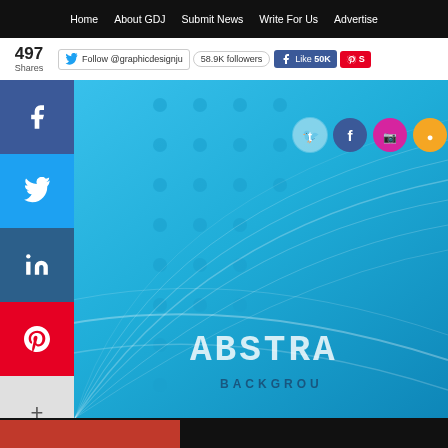Home | About GDJ | Submit News | Write For Us | Advertise
497 Shares
Follow @graphicdesignju | 58.9K followers | Like 50K
[Figure (screenshot): Website screenshot showing a graphic design junction page with a light blue abstract background image featuring wave lines and dot patterns, social share buttons on the left (Facebook, Twitter, LinkedIn, Pinterest, More), social media icons (Twitter, Facebook, Instagram, RSS) in the upper right of the image, and text reading ABSTRACT BACKGROUND partially visible]
ABSTRA